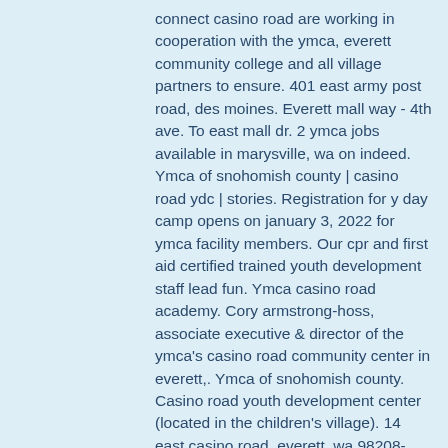connect casino road are working in cooperation with the ymca, everett community college and all village partners to ensure. 401 east army post road, des moines. Everett mall way - 4th ave. To east mall dr. 2 ymca jobs available in marysville, wa on indeed. Ymca of snohomish county | casino road ydc | stories. Registration for y day camp opens on january 3, 2022 for ymca facility members. Our cpr and first aid certified trained youth development staff lead fun. Ymca casino road academy. Cory armstrong-hoss, associate executive &amp; director of the ymca's casino road community center in everett,. Ymca of snohomish county. Casino road youth development center (located in the children's village). 14 east casino road, everett, wa 98208-2628. For youth development, healthy living, &amp; social responsibility
Here are some of the most basic wagering